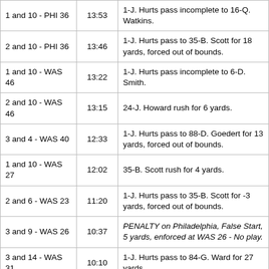| Down & Distance | Time | Play Description |
| --- | --- | --- |
| 1 and 10 - PHI 36 | 13:53 | 1-J. Hurts pass incomplete to 16-Q. Watkins. |
| 2 and 10 - PHI 36 | 13:46 | 1-J. Hurts pass to 35-B. Scott for 18 yards, forced out of bounds. |
| 1 and 10 - WAS 46 | 13:22 | 1-J. Hurts pass incomplete to 6-D. Smith. |
| 2 and 10 - WAS 46 | 13:15 | 24-J. Howard rush for 6 yards. |
| 3 and 4 - WAS 40 | 12:33 | 1-J. Hurts pass to 88-D. Goedert for 13 yards, forced out of bounds. |
| 1 and 10 - WAS 27 | 12:02 | 35-B. Scott rush for 4 yards. |
| 2 and 6 - WAS 23 | 11:20 | 1-J. Hurts pass to 35-B. Scott for -3 yards, forced out of bounds. |
| 3 and 9 - WAS 26 | 10:37 | PENALTY on Philadelphia, False Start, 5 yards, enforced at WAS 26 - No play. |
| 3 and 14 - WAS 31 | 10:10 | 1-J. Hurts pass to 84-G. Ward for 27 yards. |